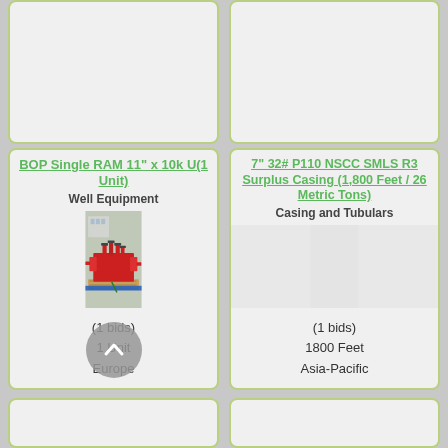[Figure (photo): Top portion of a product listing card, partially visible at the top of the page (left column)]
[Figure (photo): Top portion of a product listing card, partially visible at the top of the page (right column)]
BOP Single RAM 11" x 10k U(1 Unit)
Well Equipment
[Figure (photo): Red BOP (Blowout Preventer) single RAM unit mounted on a wooden pallet, photographed outdoors]
(1 bids)
1 Unit
Europe
7" 32# P110 NSCC SMLS R3 Surplus Casing (1,800 Feet / 26 Metric Tons)
Casing and Tubulars
[Figure (photo): Empty image area for casing product listing]
(1 bids)
1800 Feet
Asia-Pacific
[Figure (other): Bottom stub of listing cards (partially visible)]
[Figure (other): Bottom stub of listing cards (partially visible)]